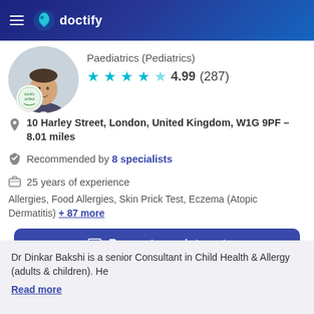doctify
Paediatrics (Pediatrics)
4.99 (287)
10 Harley Street, London, United Kingdom, W1G 9PF – 8.01 miles
Recommended by 8 specialists
25 years of experience
Allergies, Food Allergies, Skin Prick Test, Eczema (Atopic Dermatitis) + 87 more
Request appointment
Dr Dinkar Bakshi is a senior Consultant in Child Health & Allergy (adults & children). He
Read more